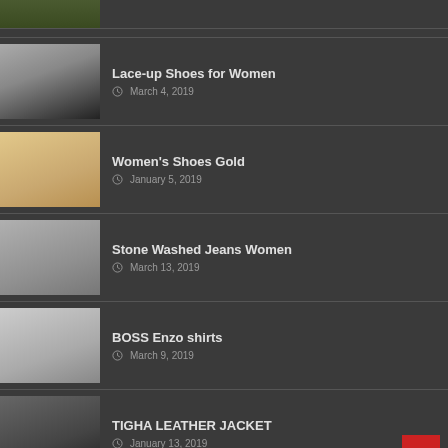[Figure (photo): Partial thumbnail of a dark olive jacket at top of page]
Lace-up Shoes for Women
March 4, 2019
Women's Shoes Gold
January 5, 2019
Stone Washed Jeans Women
March 13, 2019
BOSS Enzo shirts
March 9, 2019
TIGHA LEATHER JACKET
January 13, 2019